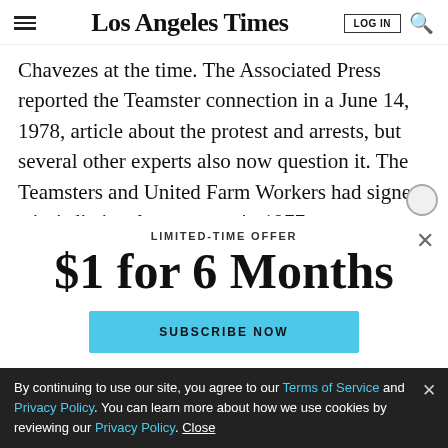Los Angeles Times
Chavezes at the time. The Associated Press reported the Teamster connection in a June 14, 1978, article about the protest and arrests, but several other experts also now question it. The Teamsters and United Farm Workers had signed a jurisdictional agreement in 1977,
LIMITED-TIME OFFER
$1 for 6 Months
SUBSCRIBE NOW
By continuing to use our site, you agree to our Terms of Service and Privacy Policy. You can learn more about how we use cookies by reviewing our Privacy Policy. Close